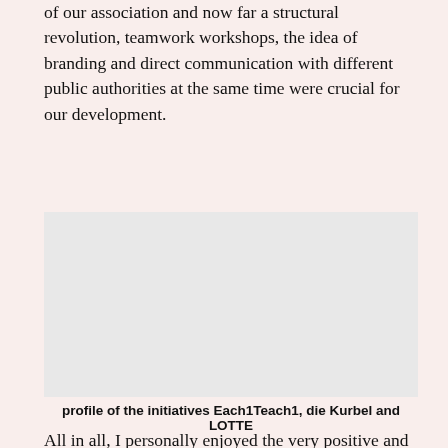of our association and how far a structural revolution, teamwork workshops, the idea of branding and direct communication with different public authorities at the same time were crucial for our development.
[Figure (photo): A light gray rectangular placeholder image representing a photo related to the initiatives Each1Teach1, die Kurbel and LOTTE.]
profile of the initiatives Each1Teach1, die Kurbel and LOTTE
All in all, I personally enjoyed the very positive and energetic